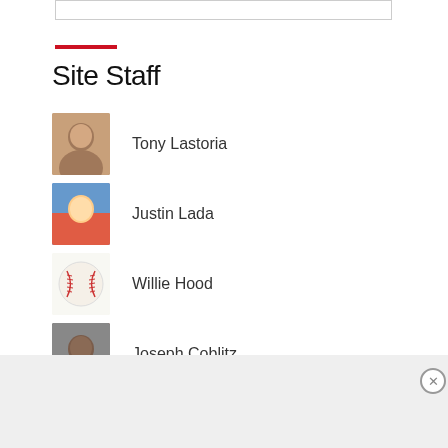Site Staff
Tony Lastoria
Justin Lada
Willie Hood
Joseph Coblitz
Arthur Kinney
IBL Staff
Advertisements
[Figure (infographic): DuckDuckGo advertisement: Search, browse, and email with more privacy. All in One Free App.]